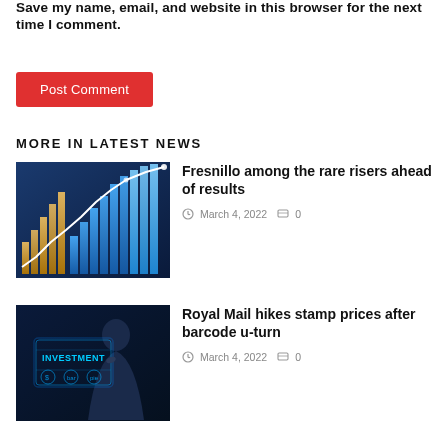Save my name, email, and website in this browser for the next time I comment.
Post Comment
MORE IN LATEST NEWS
[Figure (photo): Bar chart with glowing blue bars and an upward trending white line, financial data visualization]
Fresnillo among the rare risers ahead of results
March 4, 2022  0
[Figure (photo): Person touching a digital screen with 'INVESTMENT' text, blue-toned technology/finance concept]
Royal Mail hikes stamp prices after barcode u-turn
March 4, 2022  0